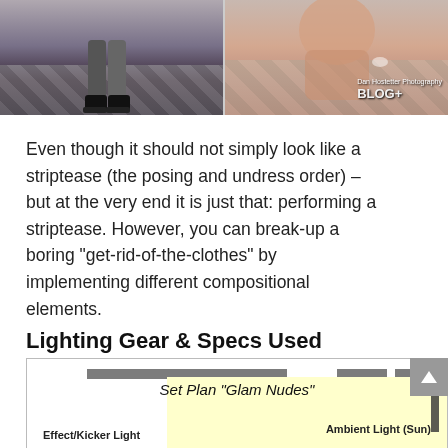[Figure (photo): Two side-by-side photographs showing fashion/glamour poses on a checkered floor, with a watermark reading 'Dan Hostetter Photography' and a blog logo]
Even though it should not simply look like a striptease (the posing and undress order) – but at the very end it is just that: performing a striptease. However, you can break-up a boring “get-rid-of-the-clothes” by implementing different compositional elements.
Lighting Gear & Specs Used
[Figure (schematic): Set Plan diagram labeled 'Set Plan "Glam Nudes"' showing lighting layout with 'Ambient Light (Sun)' on right and 'Effect/Kicker Light' on lower left, on a yellow background]